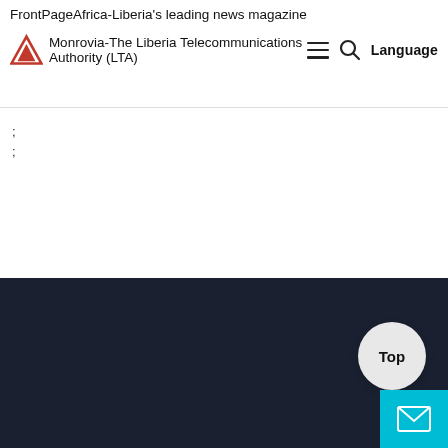FrontPageAfrica-Liberia's leading news magazine
Monrovia-The Liberia Telecommunications Authority (LTA)
;
;
[Figure (other): Dark navy/dark blue background section occupying the lower half of the page, with a 'Top' circular button and a cyan mail icon button in the bottom right corner.]